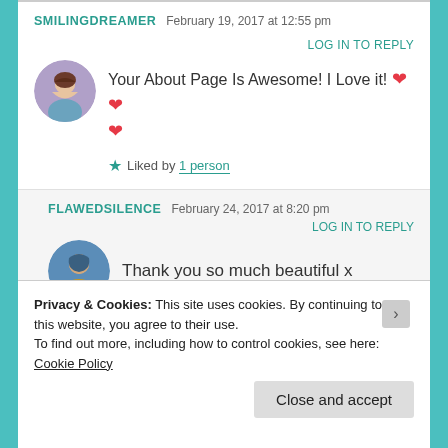SMILINGDREAMER  February 19, 2017 at 12:55 pm  LOG IN TO REPLY
Your About Page Is Awesome! I Love it! ❤️❤️❤️
★ Liked by 1 person
FLAWEDSILENCE  February 24, 2017 at 8:20 pm  LOG IN TO REPLY
Thank you so much beautiful x
Privacy & Cookies: This site uses cookies. By continuing to use this website, you agree to their use.
To find out more, including how to control cookies, see here: Cookie Policy
Close and accept